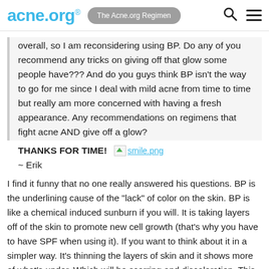acne.org® | The Acne.org Regimen
overall, so I am reconsidering using BP. Do any of you recommend any tricks on giving off that glow some people have??? And do you guys think BP isn't the way to go for me since I deal with mild acne from time to time but really am more concerned with having a fresh appearance. Any recommendations on regimens that fight acne AND give off a glow?
THANKS FOR TIME! smile.png
~ Erik
I find it funny that no one really answered his questions. BP is the underlining cause of the "lack" of color on the skin. BP is like a chemical induced sunburn if you will. It is taking layers off of the skin to promote new cell growth (that's why you have to have SPF when using it). If you want to think about it in a simpler way. It's thinning the layers of skin and it shows more of what's under. Which will be scarring and discoloration. This is very common of BP. If you want ways to fight it, I personally have found that